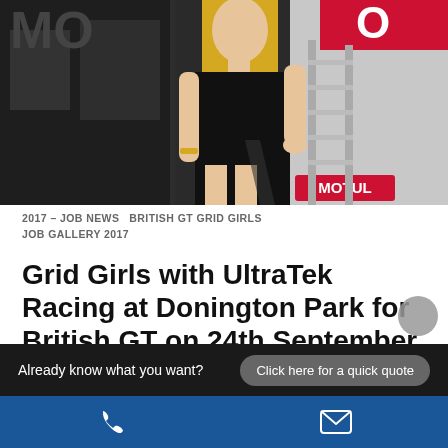[Figure (photo): A blonde woman in a black dress standing near a racing team trailer with MOTUL branding visible]
2017 – JOB NEWS  BRITISH GT GRID GIRLS  JOB GALLERY 2017
Grid Girls with UltraTek Racing at Donington Park for British GT on 24th September 2017
Grid Girl with UltraTek Racing at Donington Park for British GT on 24th September 2017 Our lovely Grid Girls Nicola…
Already know what you want?  Click here for a quick quote